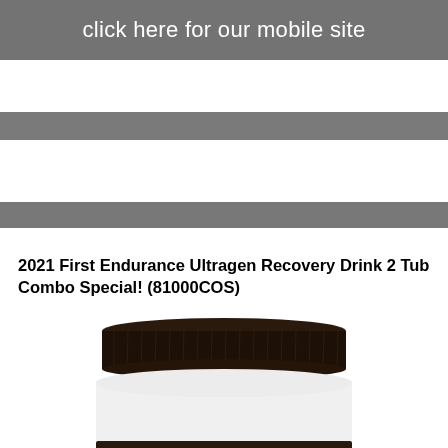click here for our mobile site
2021 First Endurance Ultragen Recovery Drink 2 Tub Combo Special! (81000COS)
[Figure (photo): Top portion of a white supplement tub with a dark brown/black ribbed screw cap. The label around the lower edge reads: LACTOSE FREE • CHOCOLATE • GLUTEN FREE • LACTOSE FREE]